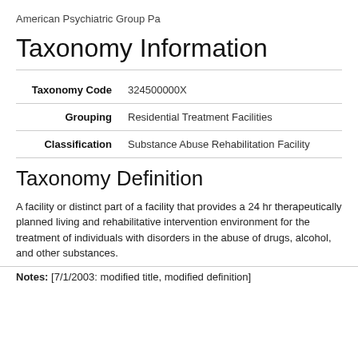American Psychiatric Group Pa
Taxonomy Information
| Taxonomy Code | 324500000X |
| Grouping | Residential Treatment Facilities |
| Classification | Substance Abuse Rehabilitation Facility |
Taxonomy Definition
A facility or distinct part of a facility that provides a 24 hr therapeutically planned living and rehabilitative intervention environment for the treatment of individuals with disorders in the abuse of drugs, alcohol, and other substances.
Notes: [7/1/2003: modified title, modified definition]